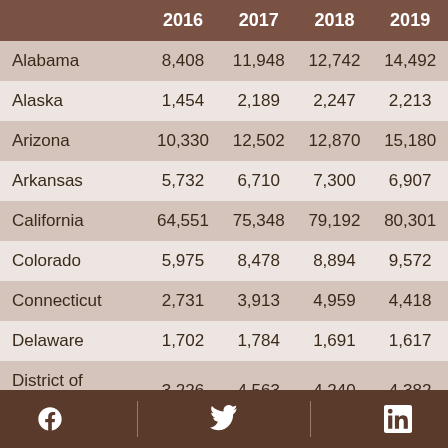|  | 2016 | 2017 | 2018 | 2019 |
| --- | --- | --- | --- | --- |
| Alabama | 8,408 | 11,948 | 12,742 | 14,492 |
| Alaska | 1,454 | 2,189 | 2,247 | 2,213 |
| Arizona | 10,330 | 12,502 | 12,870 | 15,180 |
| Arkansas | 5,732 | 6,710 | 7,300 | 6,907 |
| California | 64,551 | 75,348 | 79,192 | 80,301 |
| Colorado | 5,975 | 8,478 | 8,894 | 9,572 |
| Connecticut | 2,731 | 3,913 | 4,959 | 4,418 |
| Delaware | 1,702 | 1,784 | 1,691 | 1,617 |
| District of Columbia | 3,226 | 4,563 | 4,240 | 4,382 |
| Florida | 28,462 | 31,602 | 32,644 | 35,884 |
Social media icons: Facebook, Twitter, LinkedIn